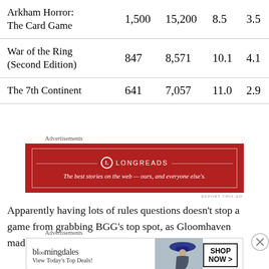| Game | Ratings | Reviews | Avg | Score |
| --- | --- | --- | --- | --- |
| Arkham Horror: The Card Game | 1,500 | 15,200 | 8.5 | 3.5 |
| War of the Ring (Second Edition) | 847 | 8,571 | 10.1 | 4.1 |
| The 7th Continent | 641 | 7,057 | 11.0 | 2.9 |
[Figure (other): Longreads advertisement banner — red background with logo and tagline 'The best stories on the web — ours, and everyone else's.']
Apparently having lots of rules questions doesn't stop a game from grabbing BGG's top spot, as Gloomhaven made this list of shame. (As I discuss below, legacy, or
[Figure (other): Bloomingdale's advertisement — 'View Today's Top Deals!' with Shop Now button and image of woman in hat]